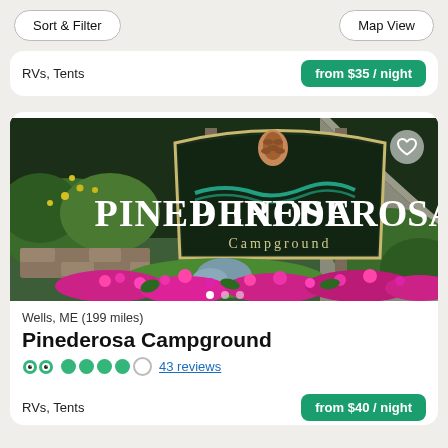Sort & Filter | Map View
RVs, Tents  from $35 / night
[Figure (photo): Entrance sign for Pinederosa Campground with pine cone logo, surrounded by colorful flowers and greenery]
Wells, ME (199 miles)
Pinederosa Campground
43 reviews (4 out of 5 stars on TripAdvisor)
RVs, Tents  from $40 / night